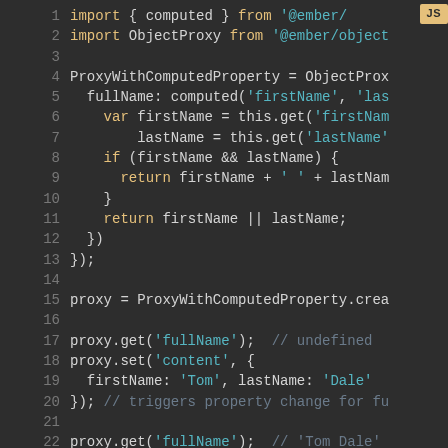[Figure (screenshot): JavaScript code snippet in a dark-themed code editor showing an Ember.js ObjectProxy with computed property example. Lines 1-22 visible. A 'JS' badge in the top right corner. Code shows imports, ProxyWithComputedProperty definition with fullName computed property, and proxy usage with get/set calls.]